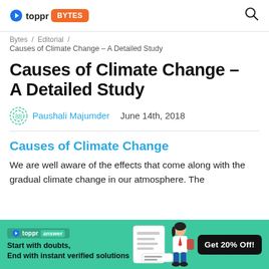toppr BYTES
Bytes / Editorial / Causes of Climate Change – A Detailed Study
Causes of Climate Change – A Detailed Study
Paushali Majumder   June 14th, 2018
Causes of Climate Change
We are well aware of the effects that come along with the gradual climate change in our atmosphere. The
[Figure (infographic): Toppr Answer ad banner: green background with toppr answer badge, 'Start with doubts, End with instant verified solutions' tagline, image of a schoolgirl, and a 'Get 20% Off!' dark button.]